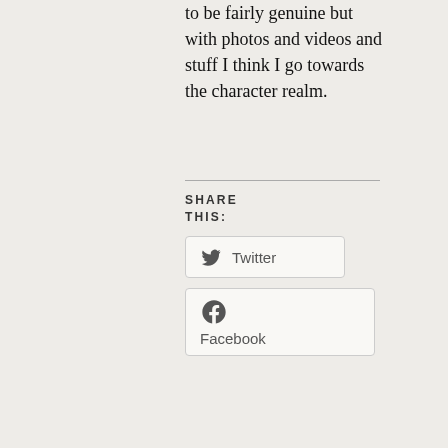to be fairly genuine but with photos and videos and stuff I think I go towards the character realm.
SHARE THIS:
Twitter
Facebook